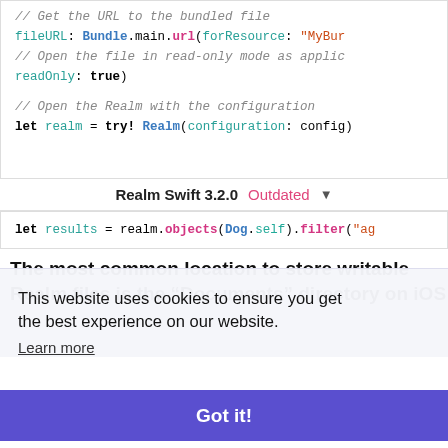[Figure (screenshot): Code block showing Swift Realm configuration: fileURL, readOnly, and open Realm with configuration lines]
Realm Swift 3.2.0  Outdated ▼
[Figure (screenshot): Code block: let results = realm.objects(Dog.self).filter("ag...]
The most common location to store writable
Realm files is the “Documents” directory on iOS
This website uses cookies to ensure you get the best experience on our website. Learn more
Got it!
directory. If a custom URL is used to initialize a